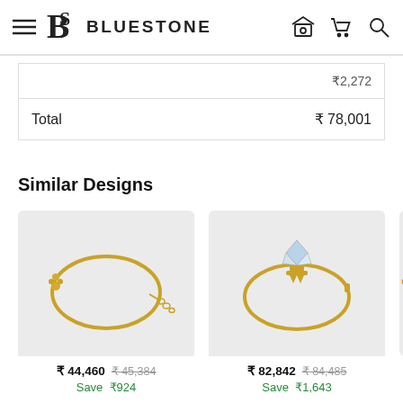Bluestone
|  | ₹2,272 |
| Total | ₹ 78,001 |
Similar Designs
[Figure (photo): Gold bangle with decorative motif and chain detail]
₹ 44,460  ₹ 45,384
Save  ₹924
[Figure (photo): Gold bangle with diamond/crystal crown motif]
₹ 82,842  ₹ 84,485
Save  ₹1,643
[Figure (photo): Partial view of a gold bangle (third item, cropped)]